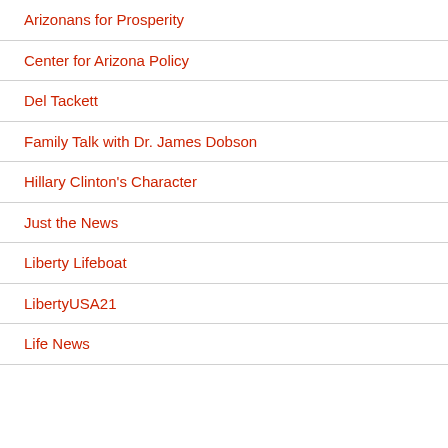Arizonans for Prosperity
Center for Arizona Policy
Del Tackett
Family Talk with Dr. James Dobson
Hillary Clinton's Character
Just the News
Liberty Lifeboat
LibertyUSA21
Life News